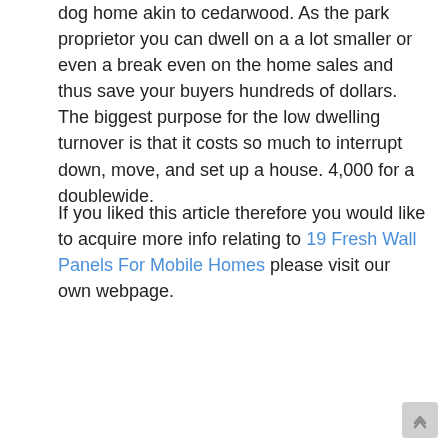dog home akin to cedarwood. As the park proprietor you can dwell on a a lot smaller or even a break even on the home sales and thus save your buyers hundreds of dollars. The biggest purpose for the low dwelling turnover is that it costs so much to interrupt down, move, and set up a house. 4,000 for a doublewide.
If you liked this article therefore you would like to acquire more info relating to 19 Fresh Wall Panels For Mobile Homes please visit our own webpage.